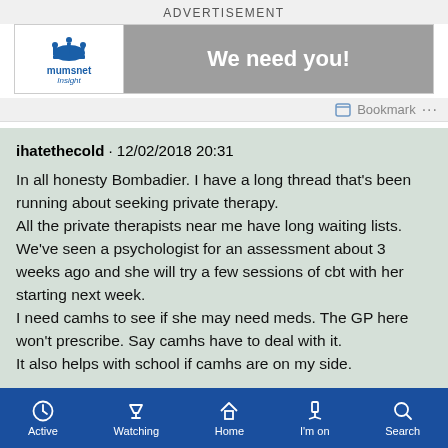ADVERTISEMENT
[Figure (screenshot): Mumsnet Insight advertisement banner with crown logo on left and 'We need you!' text on grey background on right]
Bookmark ...
ihatethecold · 12/02/2018 20:31

In all honesty Bombadier. I have a long thread that's been running about seeking private therapy.
All the private therapists near me have long waiting lists.
We've seen a psychologist for an assessment about 3 weeks ago and she will try a few sessions of cbt with her starting next week.
I need camhs to see if she may need meds. The GP here won't prescribe. Say camhs have to deal with it.
It also helps with school if camhs are on my side.
Active   Watching   Home   I'm on   Search